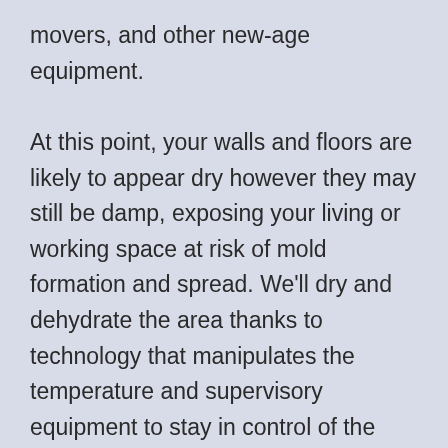movers, and other new-age equipment.

At this point, your walls and floors are likely to appear dry however they may still be damp, exposing your living or working space at risk of mold formation and spread. We'll dry and dehydrate the area thanks to technology that manipulates the temperature and supervisory equipment to stay in control of the performance. We will then take out top-notch steam cleaners and other instruments to clean and remove any nasty {odours|scents||smells} from the flood and dirty water. At last, we will reproduce our